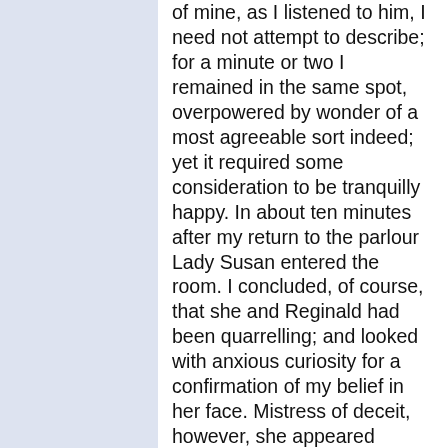of mine, as I listened to him, I need not attempt to describe; for a minute or two I remained in the same spot, overpowered by wonder of a most agreeable sort indeed; yet it required some consideration to be tranquilly happy. In about ten minutes after my return to the parlour Lady Susan entered the room. I concluded, of course, that she and Reginald had been quarrelling; and looked with anxious curiosity for a confirmation of my belief in her face. Mistress of deceit, however, she appeared perfectly unconcerned, and after chatting on indifferent subjects for a short time, said to me, "I find from Wilson that we are going to lose Mr. De Courcy--is it true that he leaves Churchhill this morning?" I